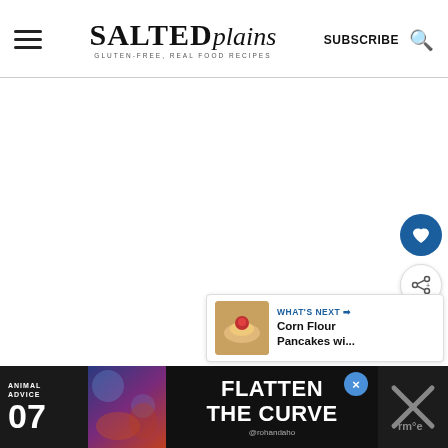SALTED plains — GLUTEN-FREE, REAL FOOD RECIPES | SUBSCRIBE
[Figure (screenshot): Salted Plains food blog website screenshot showing header with hamburger menu, logo, subscribe button, search icon, blank main content area, heart and share action buttons, 'What's Next' widget with corn flour pancakes thumbnail, and a FLATTEN THE CURVE advertisement banner at the bottom.]
WHAT'S NEXT → Corn Flour Pancakes wi...
ANIMAL ADVICE 07 FLATTEN THE CURVE @rohandaho×